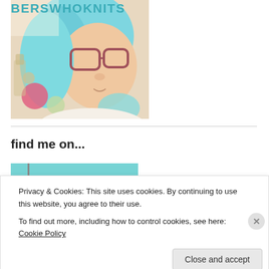BERSWHOKNITS
[Figure (photo): Photo of a person with blue hair and red-framed glasses, holding yarn and craft supplies]
find me on...
Privacy & Cookies: This site uses cookies. By continuing to use this website, you agree to their use.
To find out more, including how to control cookies, see here: Cookie Policy
Close and accept